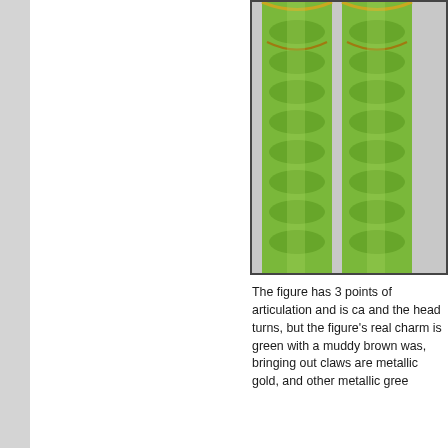[Figure (photo): Close-up photo of green metallic alien/monster figure legs and lower body with gold accents, showing scaly texture]
The figure has 3 points of articulation and is ca and the head turns, but the figure's real charm is green with a muddy brown was, bringing out claws are metallic gold, and other metallic gree
[Figure (photo): Photo showing a large green metallic alien/plant monster figure next to a smaller human figure in gray uniform, with a small pink figure at the base]